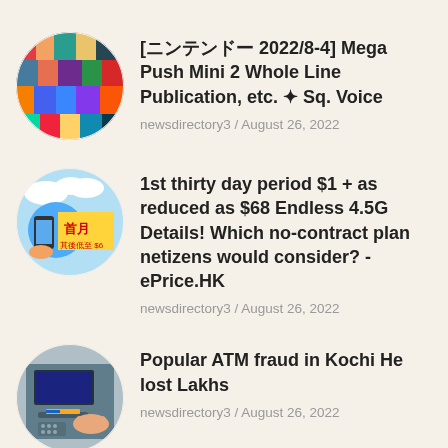[Figure (photo): Circular thumbnail image of colorful video game covers/posters arranged in a collage]
[ニンテンドー 2022/8-4] Mega Push Mini 2 Whole Line Publication, etc. ✦ Sq. Voice
newsdirectory3 / August 26, 2022
[Figure (photo): Circular thumbnail showing a person holding a phone with a yellow sign reading 首月 其後低至 $68 promotion]
1st thirty day period $1 + as reduced as $68 Endless 4.5G Details! Which no-contract plan netizens would consider? -ePrice.HK
newsdirectory3 / August 26, 2022
[Figure (photo): Circular thumbnail showing a person inserting a card into an ATM machine]
Popular ATM fraud in Kochi He lost Lakhs
newsdirectory3 / August 26, 2022